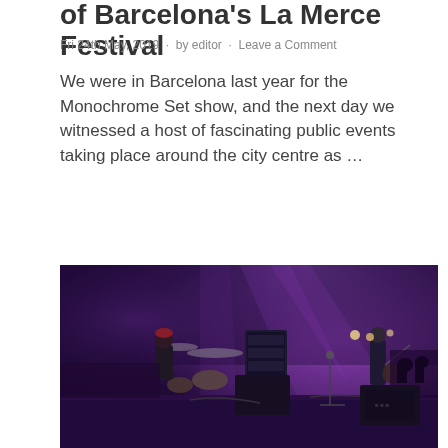of Barcelona's La Merce Festival
Fri 24th May, 2019  ·  by editor  ·  Leave a Comment
We were in Barcelona last year for the Monochrome Set show, and the next day we witnessed a host of fascinating public events taking place around the city centre as ...
READ MORE
[Figure (photo): Concert stage photo showing musicians performing under purple stage lighting. A drummer is visible on the left and a guitarist on the right, with speaker stacks and equipment on stage. A large crowd is visible in the background.]